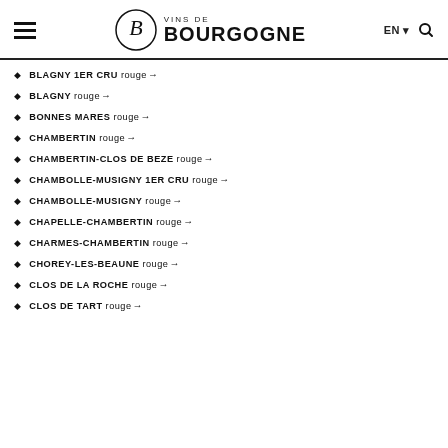VINS DE BOURGOGNE — EN — Search
BLAGNY 1ER CRU rouge →
BLAGNY rouge →
BONNES MARES rouge →
CHAMBERTIN rouge →
CHAMBERTIN-CLOS DE BEZE rouge →
CHAMBOLLE-MUSIGNY 1ER CRU rouge →
CHAMBOLLE-MUSIGNY rouge →
CHAPELLE-CHAMBERTIN rouge →
CHARMES-CHAMBERTIN rouge →
CHOREY-LES-BEAUNE rouge →
CLOS DE LA ROCHE rouge →
CLOS DE TART rouge →